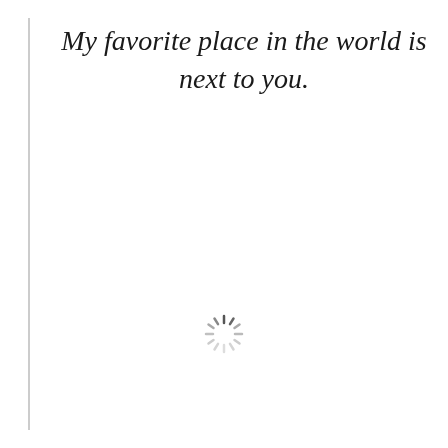My favorite place in the world is next to you.
[Figure (other): A loading spinner icon (circular spinner with radiating lines, mostly light gray with a couple darker lines at the top indicating direction of spin)]